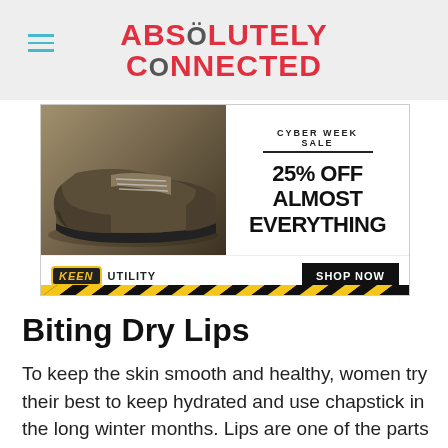ABSOLUTELY CONNECTED
[Figure (photo): Advertisement banner for KEEN Utility footwear showing a brown work shoe on the left, text '25% OFF ALMOST EVERYTHING' on the right, KEEN Utility logo and SHOP NOW button at the bottom, with hazard stripes at the very bottom.]
Biting Dry Lips
To keep the skin smooth and healthy, women try their best to keep hydrated and use chapstick in the long winter months. Lips are one of the parts of the body that